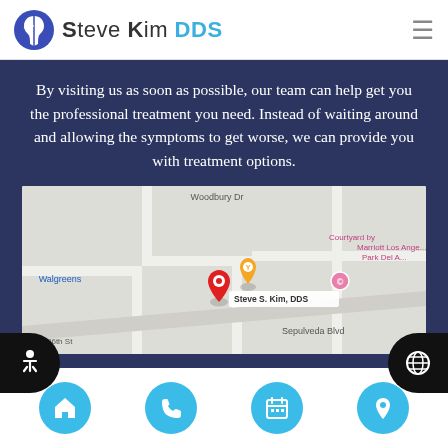Steve Kim DDS
By visiting us as soon as possible, our team can help get you the professional treatment you need. Instead of waiting around and allowing the symptoms to get worse, we can provide you with treatment options.
[Figure (map): Google Maps screenshot showing Steve S. Kim, DDS location near Sepulveda Blvd, with landmarks including Walgreens, Courtyard by Marriott Los Angeles Park Del, street labels Woodbury Dr, 26th St, and a red map pin labeled Steve S. Kim, DDS]